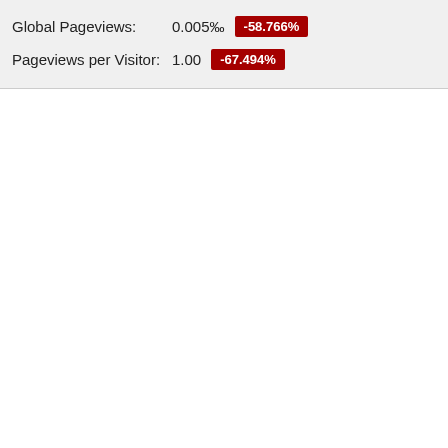Global Pageviews: 0.005‰ -58.766%
Pageviews per Visitor: 1.00 -67.494%